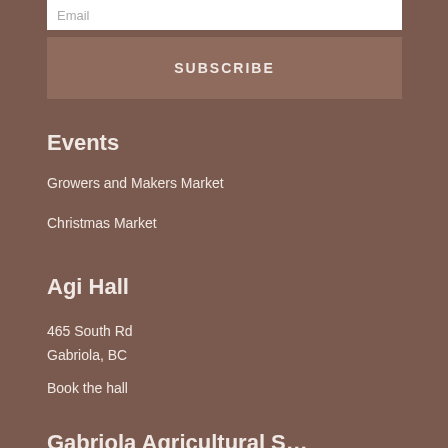Email
Subscribe
Events
Growers and Makers Market
Christmas Market
Agi Hall
465 South Rd
Gabriola, BC
Book the hall
Gabriola Agricultural S…